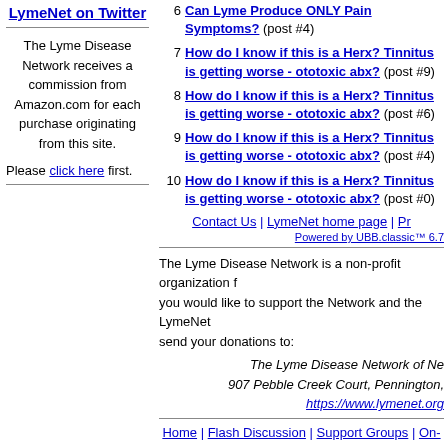LymeNet on Twitter
The Lyme Disease Network receives a commission from Amazon.com for each purchase originating from this site.
Please click here first.
6 Can Lyme Produce ONLY Pain Symptoms? (post #4)
7 How do I know if this is a Herx? Tinnitus is getting worse - ototoxic abx? (post #9)
8 How do I know if this is a Herx? Tinnitus is getting worse - ototoxic abx? (post #6)
9 How do I know if this is a Herx? Tinnitus is getting worse - ototoxic abx? (post #4)
10 How do I know if this is a Herx? Tinnitus is getting worse - ototoxic abx? (post #0)
Contact Us | LymeNet home page | Pr
Powered by UBB.classic™ 6.7
The Lyme Disease Network is a non-profit organization f... you would like to support the Network and the LymeNet... send your donations to:
The Lyme Disease Network of Ne
907 Pebble Creek Court, Pennington,
https://www.lymenet.org
Home | Flash Discussion | Support Groups | On-Line Medical Abstracts | Newsletter | Books | Pictures | Site S About LymeNet | Contact
© 1993-2022 The Lyme Disease Network of New Jers Use of the LymeNet Site is subject to Term